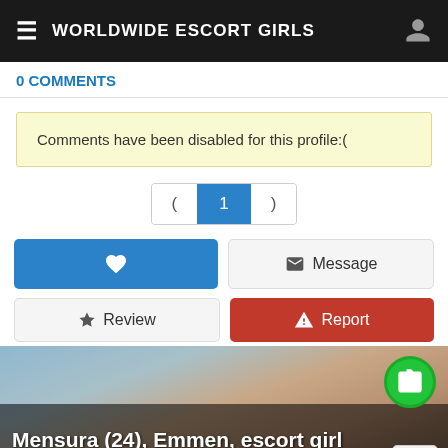WORLDWIDE ESCORT GIRLS
0 COMMENTS
Comments have been disabled for this profile:(
( 1 )
[Figure (screenshot): Photo of a young woman with dark hair in a car, partially visible. Overlay shows name 'Mensura (24), Emmen, escort girl' with action buttons: Call, and mail envelope. A green camera badge and a scripted 'Hanna' logo are visible.]